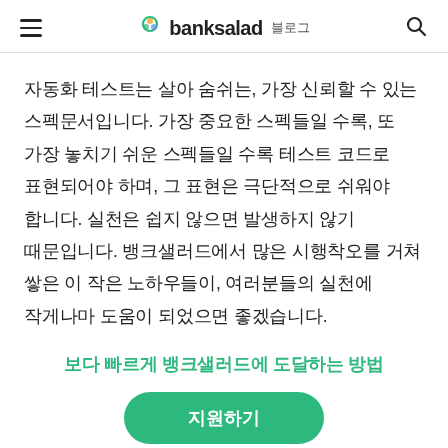banksalad 블로그
자동화 테스트는 살아 숨쉬는, 가장 신뢰할 수 있는 스펙문서입니다. 가장 중요한 스펙들일 수록, 또 가장 놓치기 쉬운 스펙들일 수록 테스트 코드로 표현되어야 하며, 그 표현은 극단적으로 쉬워야 합니다. 실천은 쉽지 않으면 발생하지 않기 때문입니다. 뱅크샐러드에서 많은 시행착오를 거쳐 쌓은 이 작은 노하우들이, 여러분들의 실천에 작게나마 도움이 되었으면 좋겠습니다.
보다 빠르게 뱅크샐러드에 도달하는 방법
지원하기